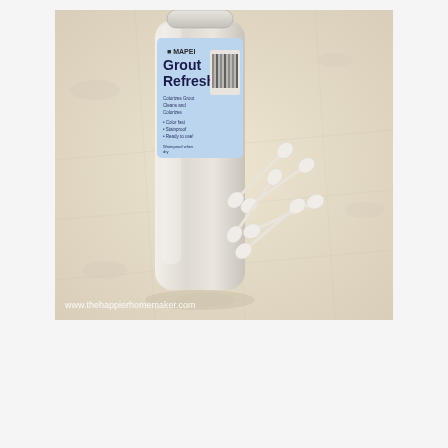[Figure (photo): Photo of a MAPEI Grout Refresh bottle (white container with blue label reading 'Grout Refresh') sitting on a beige tile floor, with several white cotton swabs scattered in front of and beside the bottle. A watermark reads 'www.thehappierhomemaker.com' in the bottom left corner.]